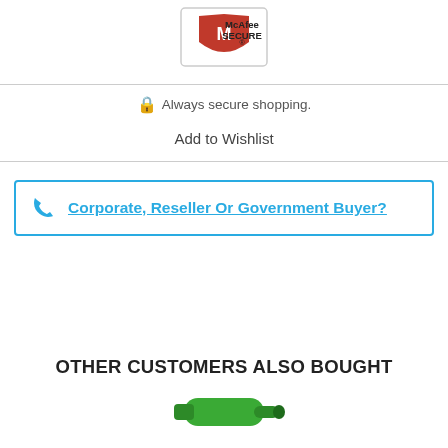[Figure (logo): McAfee SECURE badge/logo — red shield with M emblem and text 'McAfee SECURE']
Always secure shopping.
Add to Wishlist
Corporate, Reseller Or Government Buyer?
OTHER CUSTOMERS ALSO BOUGHT
[Figure (photo): Partial view of a green marker/pen product at the bottom of the page]